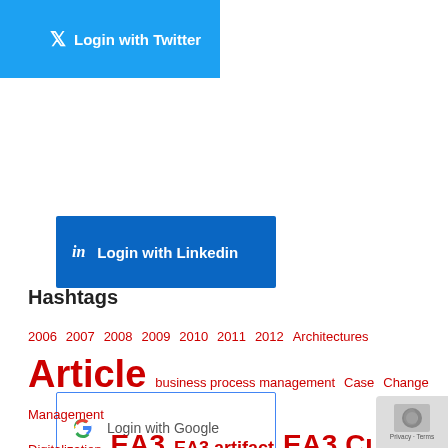[Figure (screenshot): Twitter login button with hamburger menu icon on dark red background and Twitter bird icon on blue background]
[Figure (screenshot): LinkedIn login button with 'in' icon on blue background]
[Figure (screenshot): Google login button with G logo on white background with blue border]
Hashtags
2006 2007 2008 2009 2010 2011 2012 Architectures Article business process management Case Change Management Digitalization EA3 EA3 artifact EA3 Cube EA Presentations eGovernment Enterprise